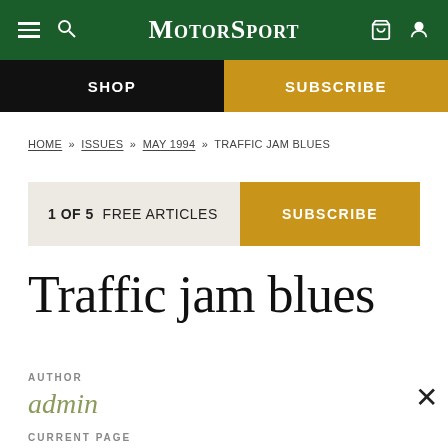MotorSport
SHOP | SUBSCRIBE
HOME » ISSUES » MAY 1994 » TRAFFIC JAM BLUES
1 OF 5 FREE ARTICLES   SUBSCRIBE
Traffic jam blues
AUTHOR
admin
CURRENT PAGE